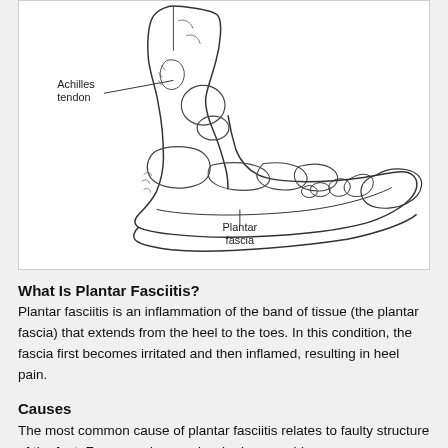[Figure (illustration): Anatomical line drawing of the side view of a human foot and ankle, showing the Achilles tendon labeled with a leader line on the upper left, and the Plantar fascia labeled with a leader line at the bottom center. The illustration shows bones of the foot, heel, and toes.]
What Is Plantar Fasciitis?
Plantar fasciitis is an inflammation of the band of tissue (the plantar fascia) that extends from the heel to the toes. In this condition, the fascia first becomes irritated and then inflamed, resulting in heel pain.
Causes
The most common cause of plantar fasciitis relates to faulty structure of the foot. For example, people who have problems...